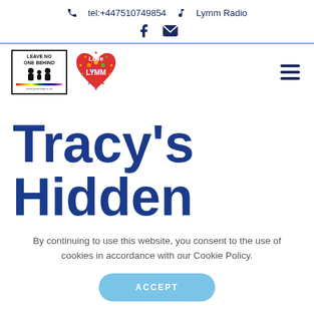tel:+447510749854  Lymm Radio
[Figure (logo): Leave No One Behind logo with two figures and rainbow stripe, www.lymmhelp.co.uk]
[Figure (logo): Love Lymm heart logo with colorful text]
Tracy's Hidden
By continuing to use this website, you consent to the use of cookies in accordance with our Cookie Policy.
ACCEPT